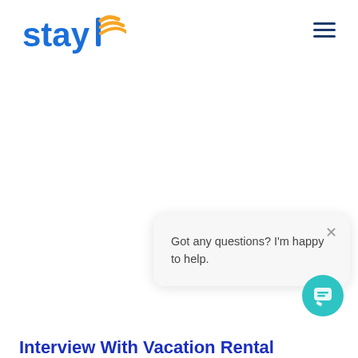[Figure (logo): StayFi logo with blue text 'stay' and orange wifi/signal icon forming the letter 'fi']
[Figure (other): Hamburger menu icon (three horizontal lines) in dark blue]
Got any questions? I'm happy to help.
[Figure (other): Teal circular chat button with chat bubble icon]
Interview With Vacation Rental